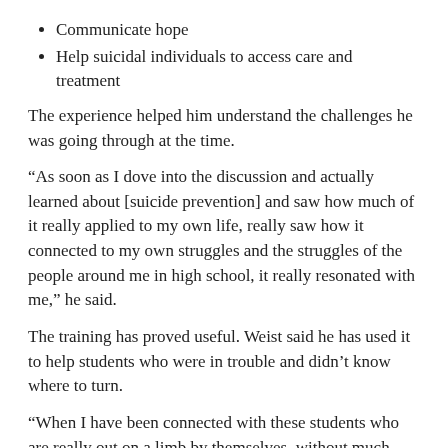Communicate hope
Help suicidal individuals to access care and treatment
The experience helped him understand the challenges he was going through at the time.
“As soon as I dove into the discussion and actually learned about [suicide prevention] and saw how much of it really applied to my own life, really saw how it connected to my own struggles and the struggles of the people around me in high school, it really resonated with me,” he said.
The training has proved useful. Weist said he has used it to help students who were in trouble and didn’t know where to turn.
“When I have been connected with these students who are really out on a limb by themselves, without much support, I’ve been able to use the REACH class to get to their feelings and to make them feel heard,” he said.
“Because the most common thing that I’ve seen is that